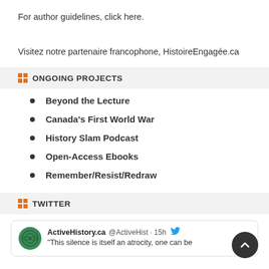For author guidelines, click here.
Visitez notre partenaire francophone, HistoireEngagée.ca
ONGOING PROJECTS
Beyond the Lecture
Canada's First World War
History Slam Podcast
Open-Access Ebooks
Remember/Resist/Redraw
TWITTER
ActiveHistory.ca @ActiveHist · 15h
"This silence is itself an atrocity, one can be